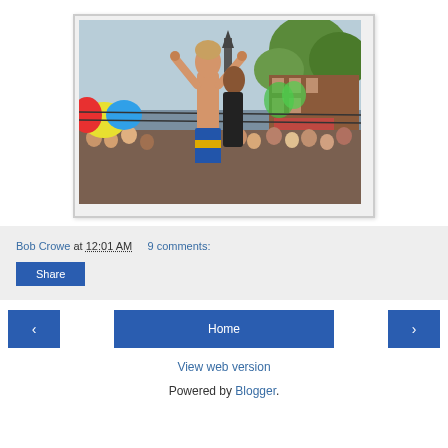[Figure (photo): Outdoor wrestling match photo showing a shirtless man with arms raised in a ring, crowd visible in background, brick building and trees visible, colorful inflatables on the left]
Bob Crowe at 12:01 AM   9 comments:
Share
< Home >
View web version
Powered by Blogger.